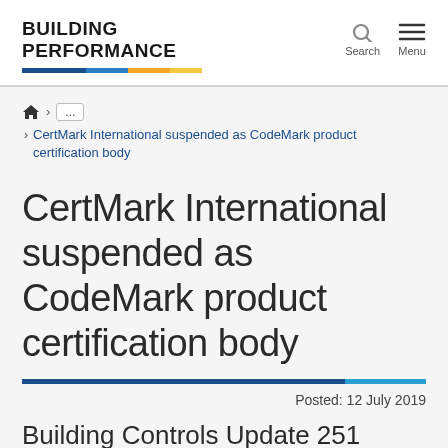BUILDING PERFORMANCE
CertMark International suspended as CodeMark product certification body
CertMark International suspended as CodeMark product certification body
Posted: 12 July 2019
Building Controls Update 251